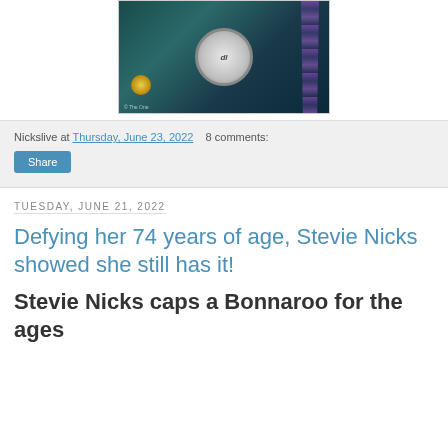[Figure (photo): Concert photo showing a drum kit on a teal-lit stage with a streamer/hair visible on the right side and a spotlight on the left]
Nickslive at Thursday, June 23, 2022   8 comments:
Share
Tuesday, June 21, 2022
Defying her 74 years of age, Stevie Nicks showed she still has it!
Stevie Nicks caps a Bonnaroo for the ages